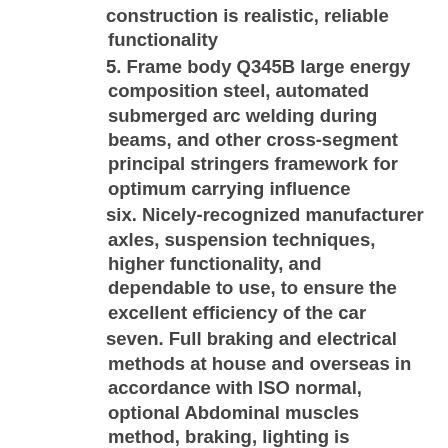construction is realistic, reliable functionality
5. Frame body Q345B large energy composition steel, automated submerged arc welding during beams, and other cross-segment principal stringers framework for optimum carrying influence
six. Nicely-recognized manufacturer axles, suspension techniques, higher functionality, and dependable to use, to ensure the excellent efficiency of the car
seven. Full braking and electrical methods at house and overseas in accordance with ISO normal, optional Abdominal muscles method, braking, lighting is completely risk-free and reputable
8. Body overall spray primer remedy, paint spraying wonderful floor high quality of maritime anti-corrosion requirements
nine. Merchandise fully comply with appropriate